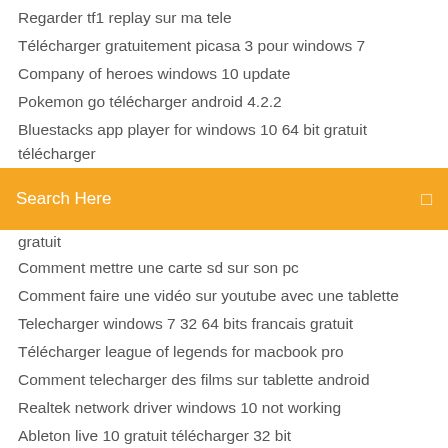Regarder tf1 replay sur ma tele
Télécharger gratuitement picasa 3 pour windows 7
Company of heroes windows 10 update
Pokemon go télécharger android 4.2.2
Bluestacks app player for windows 10 64 bit gratuit télécharger
[Figure (screenshot): Orange search bar with text 'Search Here' and a search icon on the right]
gratuit
Comment mettre une carte sd sur son pc
Comment faire une vidéo sur youtube avec une tablette
Telecharger windows 7 32 64 bits francais gratuit
Télécharger league of legends for macbook pro
Comment telecharger des films sur tablette android
Realtek network driver windows 10 not working
Ableton live 10 gratuit télécharger 32 bit
Telecharger fifa 17 psp android
Jeux dhorreur sans téléchargement
Link de origin télécharger microsoft office 2007